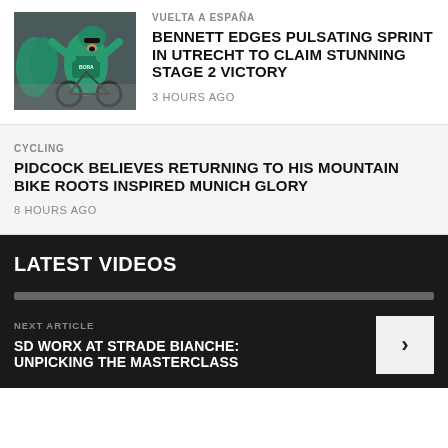[Figure (photo): Cyclist in teal BORA kit celebrating with arms raised, with teammates in background]
VUELTA A ESPAÑA
BENNETT EDGES PULSATING SPRINT IN UTRECHT TO CLAIM STUNNING STAGE 2 VICTORY
3 HOURS AGO
CYCLING
PIDCOCK BELIEVES RETURNING TO HIS MOUNTAIN BIKE ROOTS INSPIRED MUNICH GLORY
8 HOURS AGO
LATEST VIDEOS
NEXT ARTICLE
SD WORX AT STRADE BIANCHE: UNPICKING THE MASTERCLASS